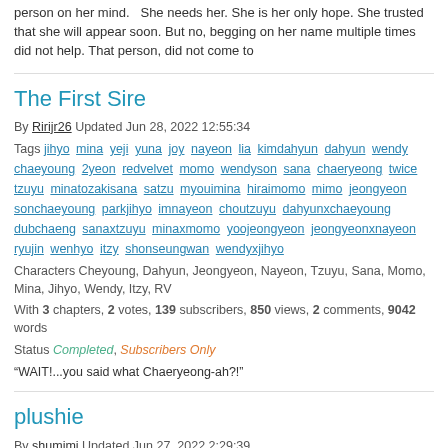person on her mind.   She needs her. She is her only hope. She trusted that she will appear soon. But no, begging on her name multiple times did not help. That person, did not come to
The First Sire
By Ririjr26 Updated Jun 28, 2022 12:55:34
Tags jihyo mina yeji yuna joy nayeon lia kimdahyun dahyun wendy chaeyoung 2yeon redvelvet momo wendyson sana chaeryeong twice tzuyu minatozakisana satzu myouimina hiraimomo mimo jeongyeon sonchaeyoung parkjihyo imnayeon choutzuyu dahyunxchaeyoung dubchaeng sanaxtzuyu minaxmomo yoojeongyeon jeongyeonxnayeon ryujin wenhyo itzy shonseungwan wendyxjihyo
Characters Cheyoung, Dahyun, Jeongyeon, Nayeon, Tzuyu, Sana, Momo, Mina, Jihyo, Wendy, Itzy, RV
With 3 chapters, 2 votes, 139 subscribers, 850 views, 2 comments, 9042 words
Status Completed, Subscribers Only
“WAIT!...you said what Chaeryeong-ah?!”
plushie
By shumimi Updated Jun 27, 2022 2:29:39
Characters Myoui Mina, Son Chaeyoung, Kim Dahyun, Im Nayeon
With 3 chapters, 35 votes, 804 subscribers, 3970 views, 14 comments, 22251 words